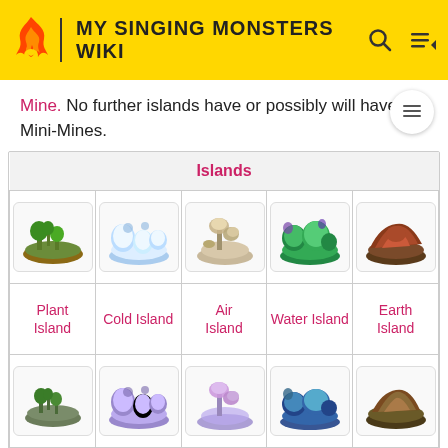MY SINGING MONSTERS WIKI
Mine. No further islands have or possibly will have Mini-Mines.
| Islands |
| --- |
| Plant Island image | Cold Island image | Air Island image | Water Island image | Earth Island image |
| Plant Island | Cold Island | Air Island | Water Island | Earth Island |
| Mirror Plant Island image | Mirror Cold Island image | Mirror Air Island image | Mirror Water Island image | Mirror Earth Island image |
| Mirror Plant Island | Mirror Cold Island | Mirror Air Island | Mirror Water Island | Mirror Earth Island |